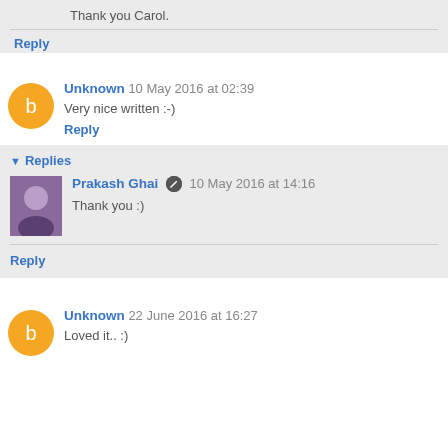Thank you Carol.
Reply
Unknown 10 May 2016 at 02:39
Very nice written :-)
Reply
Replies
Prakash Ghai 10 May 2016 at 14:16
Thank you :)
Reply
Unknown 22 June 2016 at 16:27
Loved it.. :)